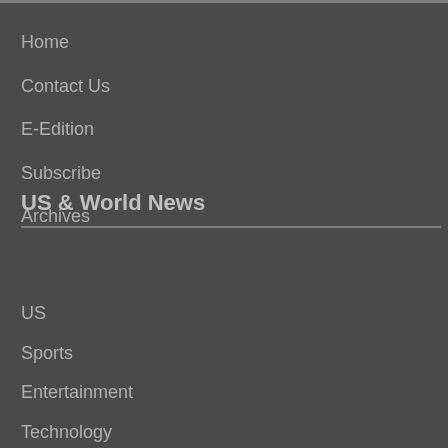Home
Contact Us
E-Edition
Subscribe
Archives
US & World News
US
Sports
Entertainment
Technology
Politics
World
Business